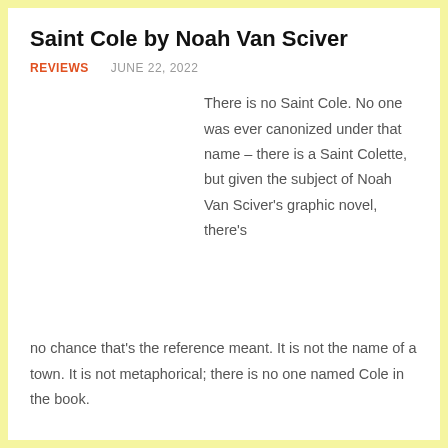Saint Cole by Noah Van Sciver
REVIEWS   JUNE 22, 2022
There is no Saint Cole. No one was ever canonized under that name – there is a Saint Colette, but given the subject of Noah Van Sciver's graphic novel, there's no chance that's the reference meant. It is not the name of a town. It is not metaphorical; there is no one named Cole in the book.